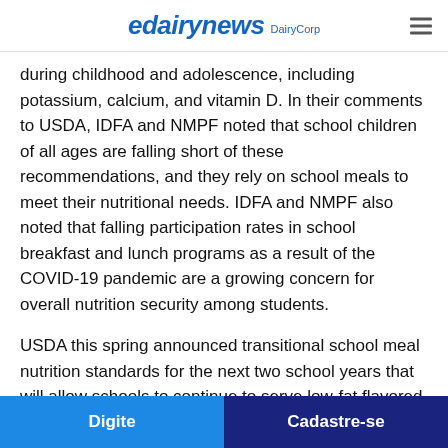edairynews DairyCorp
during childhood and adolescence, including potassium, calcium, and vitamin D. In their comments to USDA, IDFA and NMPF noted that school children of all ages are falling short of these recommendations, and they rely on school meals to meet their nutritional needs. IDFA and NMPF also noted that falling participation rates in school breakfast and lunch programs as a result of the COVID-19 pandemic are a growing concern for overall nutrition security among students.
USDA this spring announced transitional school meal nutrition standards for the next two school years that will allow schools to continue to serve low-fat flavored milk consistent with DGA recommendations, and pause overly stringent sodium reduction targets that threaten the ability
Digite   Cadastre-se